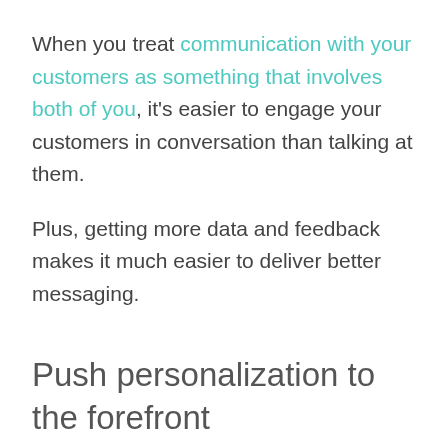When you treat communication with your customers as something that involves both of you, it's easier to engage your customers in conversation than talking at them.
Plus, getting more data and feedback makes it much easier to deliver better messaging.
Push personalization to the forefront
Are the days of sending blast emails to everyone on your list over? If not, the time is probably coming in the not so distant future...